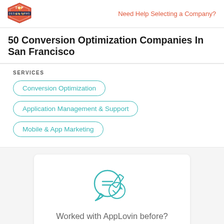Need Help Selecting a Company?
50 Conversion Optimization Companies In San Francisco
SERVICES
Conversion Optimization
Application Management & Support
Mobile & App Marketing
Worked with AppLovin before?
Leave a Review >